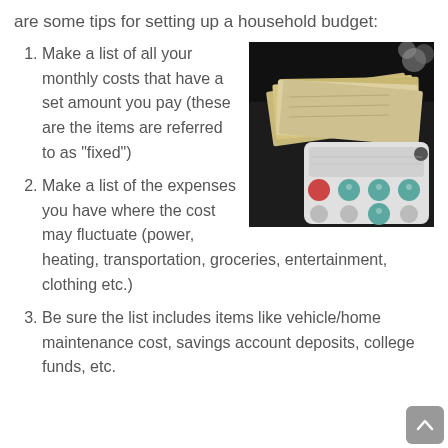are some tips for setting up a household budget:
[Figure (photo): Photo of cash money bills fanned out on top of a calculator with colorful buttons]
Make a list of all your monthly costs that have a set amount you pay (these are the items are referred to as "fixed")
Make a list of the expenses you have where the cost may fluctuate (power, heating, transportation, groceries, entertainment, clothing etc.)
Be sure the list includes items like vehicle/home maintenance cost, savings account deposits, college funds, etc.